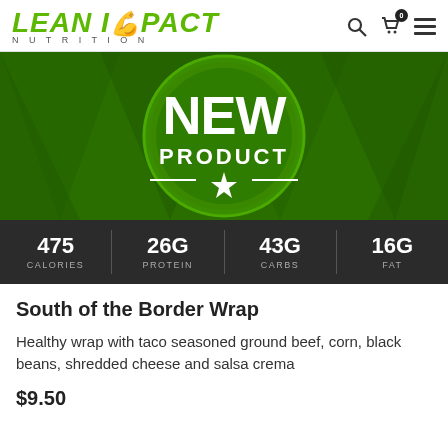LEAN IMPACT NUTRITION
[Figure (illustration): Green badge/seal with 'NEW PRODUCT' text and a star emblem on a dark green geometric background]
| 475 CALORIES | 26G PROTEIN | 43G CARBS | 16G FAT |
| --- | --- | --- | --- |
South of the Border Wrap
Healthy wrap with taco seasoned ground beef, corn, black beans, shredded cheese and salsa crema
$9.50